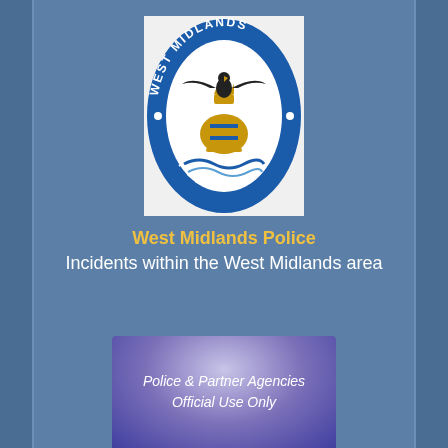[Figure (logo): West Midlands Police badge/crest — oval shield with blue border, white center, police crest with eagle and crown motif, 'WEST MIDLANDS' text at top, 'POLICE' text at bottom of the oval border]
West Midlands Police
Incidents within the West Midlands area
[Figure (other): Purple/blue gradient box with italic white text reading 'Police & Partner Agencies Official Use Only']